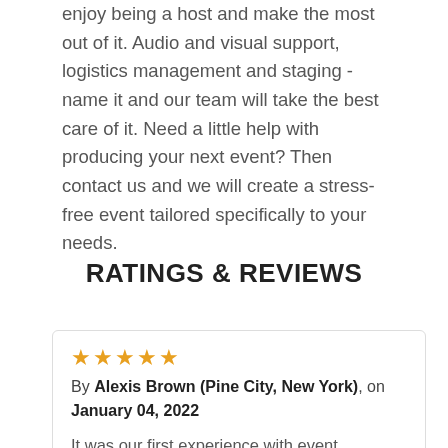team takes care of every little detail so you can enjoy being a host and make the most out of it. Audio and visual support, logistics management and staging - name it and our team will take the best care of it. Need a little help with producing your next event? Then contact us and we will create a stress-free event tailored specifically to your needs.
RATINGS & REVIEWS
★★★★★
By Alexis Brown (Pine City, New York), on January 04, 2022

It was our first experience with event production and everything went well. We liked